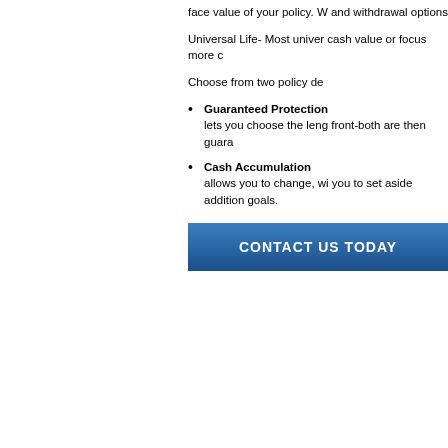face value of your policy. W and withdrawal options
Universal Life- Most univer cash value or focus more c
Choose from two policy de
Guaranteed Protection lets you choose the leng front-both are then guara
Cash Accumulation allows you to change, wi you to set aside addition goals.
CONTACT US TODAY